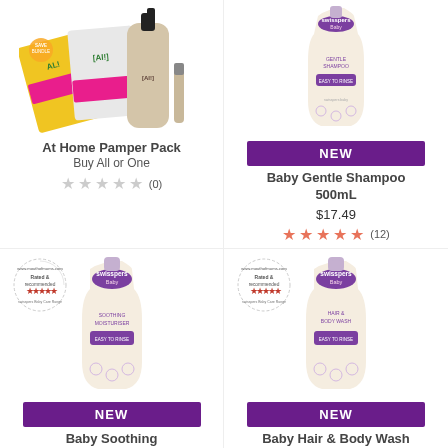[Figure (photo): At Home Pamper Pack product image showing multiple skincare product packages]
At Home Pamper Pack
Buy All or One
(0) star rating
[Figure (photo): Baby Gentle Shampoo 500mL bottle with NEW badge]
NEW
Baby Gentle Shampoo 500mL
$17.49
(12) star rating
[Figure (photo): Baby Soothing Moisturiser 500mL bottle with Rated & Recommended badge]
NEW
Baby Soothing Moisturiser 500mL
$17.49
[Figure (photo): Baby Hair & Body Wash 500mL bottle with Rated & Recommended badge]
NEW
Baby Hair & Body Wash 500mL
$17.49